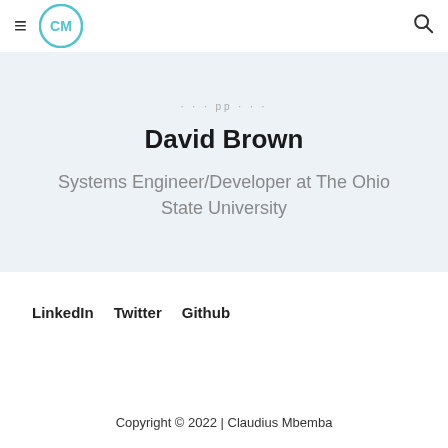≡ CM [logo]  🔍
· · · pp · · ·
David Brown
Systems Engineer/Developer at The Ohio State University
LinkedIn  Twitter  Github
Copyright © 2022 | Claudius Mbemba